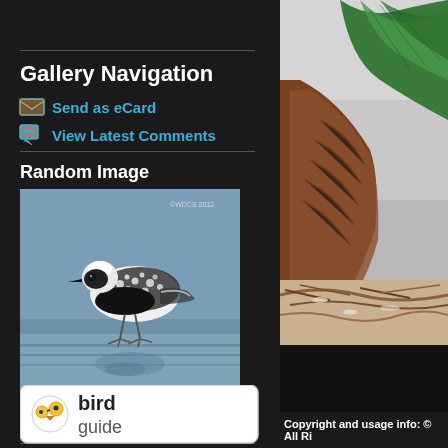Gallery Navigation
Send as eCard
View Latest Comments
Random Image
[Figure (photo): Photo of a Grey Plover bird walking on a wet beach/mudflat, black-and-white speckled plumage, reflected in shallow water]
Grey Plover
[Figure (photo): Close-up photo of a bird with green and brown plumage, perched or nesting, right panel cropped]
Copyright and usage info: © All Ri